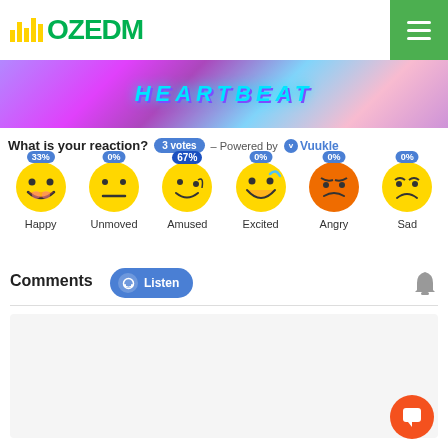[Figure (logo): OZEDM logo with yellow bar chart icon and green text]
[Figure (photo): HEARTBEAT banner with purple and cyan gradient background]
What is your reaction? 3 votes – Powered by Vuukle
[Figure (infographic): Reaction emoji row: Happy 33%, Unmoved 0%, Amused 67%, Excited 0%, Angry 0%, Sad 0%]
Comments
[Figure (other): Listen button with headphone icon and notification bell]